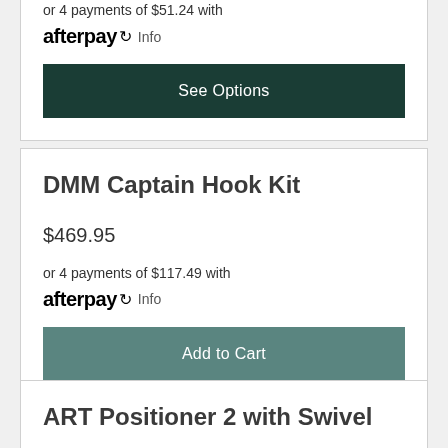or 4 payments of $51.24 with
afterpay Info
See Options
DMM Captain Hook Kit
$469.95
or 4 payments of $117.49 with
afterpay Info
Add to Cart
ART Positioner 2 with Swivel